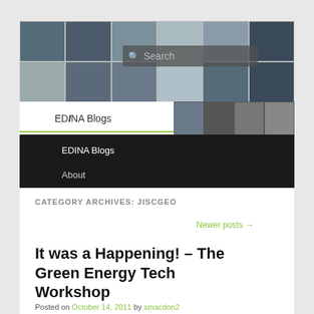[Figure (photo): Header photo collage of students working with computers and technology, with a search bar overlay. EDINA Blogs navigation bar visible.]
EDINA Blogs
EDINA Blogs
About
CATEGORY ARCHIVES: JISCGEO
Newer posts →
It was a Happening! – The Green Energy Tech Workshop
Posted on October 14, 2011 by smacdon2